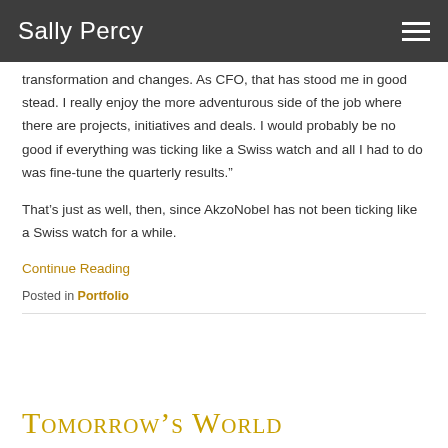Sally Percy
transformation and changes. As CFO, that has stood me in good stead. I really enjoy the more adventurous side of the job where there are projects, initiatives and deals. I would probably be no good if everything was ticking like a Swiss watch and all I had to do was fine-tune the quarterly results.”
That’s just as well, then, since AkzoNobel has not been ticking like a Swiss watch for a while.
Continue Reading
Posted in Portfolio
Tomorrow’s World